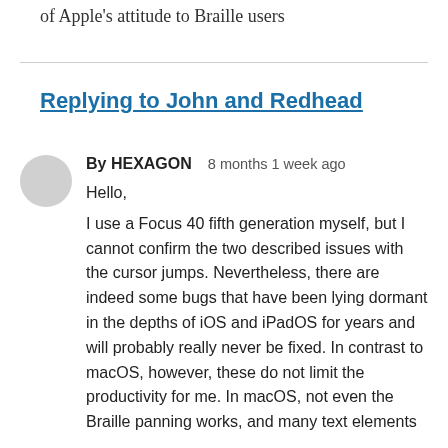of Apple's attitude to Braille users
Replying to John and Redhead
By HEXAGON   8 months 1 week ago
Hello,
I use a Focus 40 fifth generation myself, but I cannot confirm the two described issues with the cursor jumps. Nevertheless, there are indeed some bugs that have been lying dormant in the depths of iOS and iPadOS for years and will probably really never be fixed. In contrast to macOS, however, these do not limit the productivity for me. In macOS, not even the Braille panning works, and many text elements